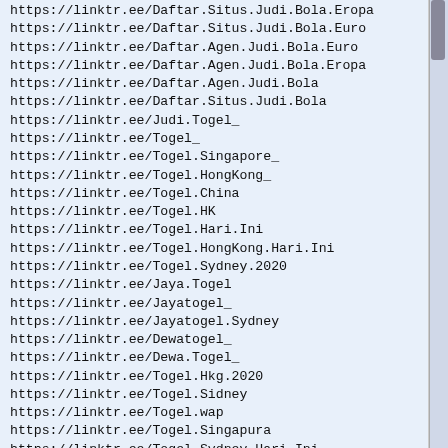https://linktr.ee/Daftar.Situs.Judi.Bola.Eropa
https://linktr.ee/Daftar.Situs.Judi.Bola.Euro
https://linktr.ee/Daftar.Agen.Judi.Bola.Euro
https://linktr.ee/Daftar.Agen.Judi.Bola.Eropa
https://linktr.ee/Daftar.Agen.Judi.Bola
https://linktr.ee/Daftar.Situs.Judi.Bola
https://linktr.ee/Judi.Togel_
https://linktr.ee/Togel_
https://linktr.ee/Togel.Singapore_
https://linktr.ee/Togel.HongKong_
https://linktr.ee/Togel.China
https://linktr.ee/Togel.HK
https://linktr.ee/Togel.Hari.Ini
https://linktr.ee/Togel.HongKong.Hari.Ini
https://linktr.ee/Togel.Sydney.2020
https://linktr.ee/Jaya.Togel
https://linktr.ee/Jayatogel_
https://linktr.ee/Jayatogel.Sydney
https://linktr.ee/Dewatogel_
https://linktr.ee/Dewa.Togel_
https://linktr.ee/Togel.Hkg.2020
https://linktr.ee/Togel.Sidney
https://linktr.ee/Togel.wap
https://linktr.ee/Togel.Singapura
https://linktr.ee/Togel.Sydney.Hari.Ini
https://linktr.ee/Nomor.Togel.Keluar
https://linktr.ee/Togel.Sgp
https://linktr.ee/Pengeluaran.Togel.HK
https://linktr.ee/Togel.Online_
https://linktr.ee/Link.Alternatif.Bola88_